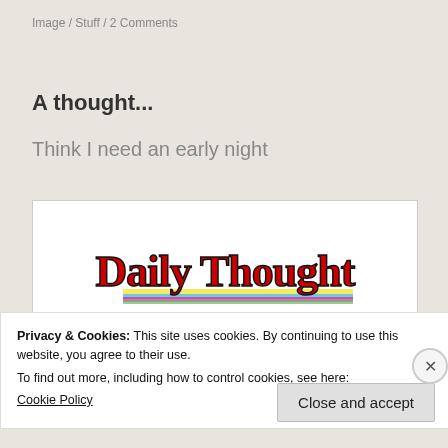Image / Stuff / 2 Comments
A thought...
Think I need an early night
[Figure (illustration): Decorative image with handwritten-style text 'Daily Thought' in red/black with colorful underlines, and below it the text 'I have promised my son']
Privacy & Cookies: This site uses cookies. By continuing to use this website, you agree to their use.
To find out more, including how to control cookies, see here:
Cookie Policy
Close and accept